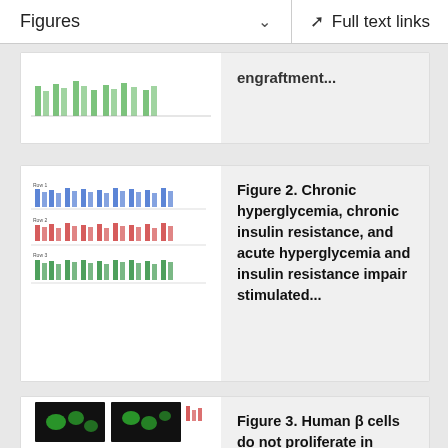Figures   ∨   Full text links
[Figure (bar-chart): Partial figure showing bar charts (top of card 1, cropped)]
engraftment...
[Figure (bar-chart): Figure 2 thumbnail showing multiple grouped bar charts in blue, red, and green rows]
Figure 2. Chronic hyperglycemia, chronic insulin resistance, and acute hyperglycemia and insulin resistance impair stimulated...
[Figure (photo): Figure 3 thumbnail showing fluorescence microscopy images of beta cells with bar charts]
Figure 3. Human β cells do not proliferate in response to